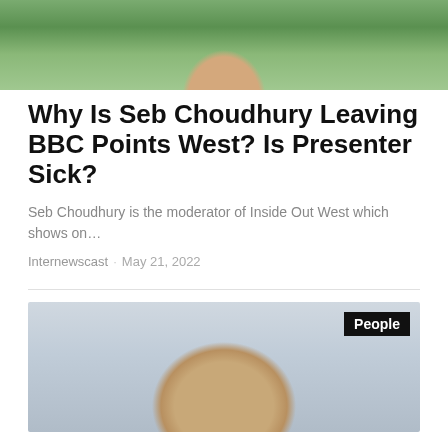[Figure (photo): Partial photo of a person outdoors with greenery background, cropped to show head and shoulders]
Why Is Seb Choudhury Leaving BBC Points West? Is Presenter Sick?
Seb Choudhury is the moderator of Inside Out West which shows on…
Internewscast · May 21, 2022
[Figure (photo): Photo of a man in professional setting, with 'People' tag label in top right corner]